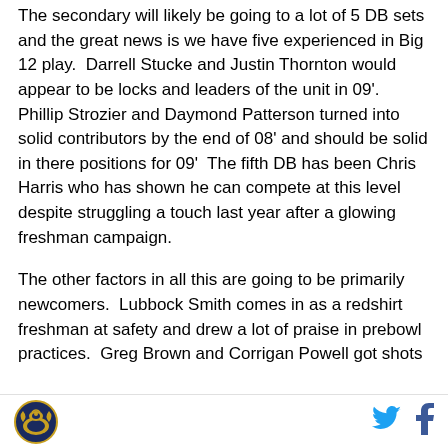The secondary will likely be going to a lot of 5 DB sets and the great news is we have five experienced in Big 12 play.  Darrell Stucke and Justin Thornton would appear to be locks and leaders of the unit in 09'.  Phillip Strozier and Daymond Patterson turned into solid contributors by the end of 08' and should be solid in there positions for 09'  The fifth DB has been Chris Harris who has shown he can compete at this level despite struggling a touch last year after a glowing freshman campaign.
The other factors in all this are going to be primarily newcomers.  Lubbock Smith comes in as a redshirt freshman at safety and drew a lot of praise in prebowl practices.  Greg Brown and Corrigan Powell got shots
[Figure (logo): Sports team logo with eagle/wings emblem in blue and gold circle]
[Figure (illustration): Twitter bird icon in blue]
[Figure (illustration): Facebook 'f' icon in dark blue]